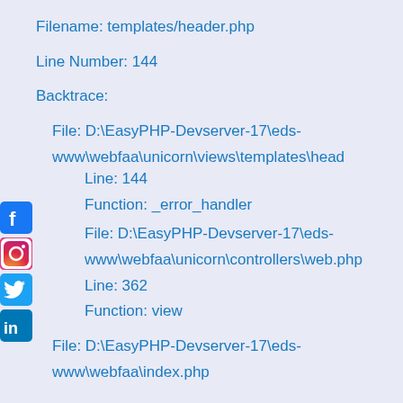Filename: templates/header.php
Line Number: 144
Backtrace:
File: D:\EasyPHP-Devserver-17\eds-www\webfaa\unicorn\views\templates\head
Line: 144
Function: _error_handler
File: D:\EasyPHP-Devserver-17\eds-www\webfaa\unicorn\controllers\web.php
Line: 362
Function: view
File: D:\EasyPHP-Devserver-17\eds-www\webfaa\index.php